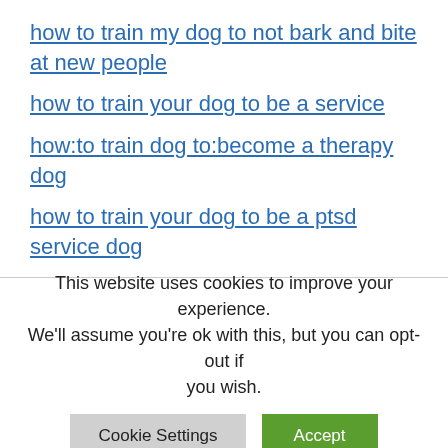how to train my dog to not bark and bite at new people
how to train your dog to be a service
how:to train dog to:become a therapy dog
how to train your dog to be a ptsd service dog
what happens to dogs that fail police training
This website uses cookies to improve your experience. We'll assume you're ok with this, but you can opt-out if you wish.
Cookie Settings
Accept